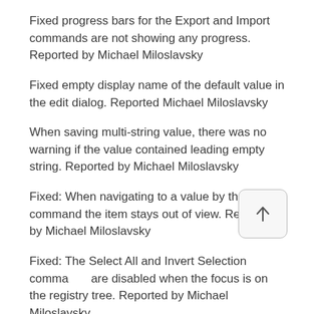Fixed progress bars for the Export and Import commands are not showing any progress. Reported by Michael Miloslavsky
Fixed empty display name of the default value in the edit dialog. Reported Michael Miloslavsky
When saving multi-string value, there was no warning if the value contained leading empty string. Reported by Michael Miloslavsky
Fixed: When navigating to a value by the Go To command the item stays out of view. Reported by Michael Miloslavsky
Fixed: The Select All and Invert Selection commands are disabled when the focus is on the registry tree. Reported by Michael Miloslavsky
Fixed incorrect enabled/disabled state of some